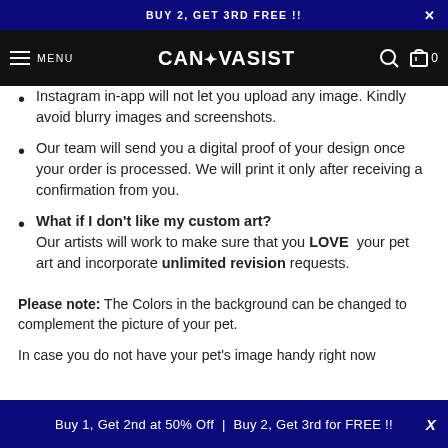BUY 2, GET 3RD FREE !!
[Figure (screenshot): Navigation bar with hamburger menu, CANVASIST logo, search icon, and cart showing 0]
Instagram in-app will not let you upload any image. Kindly avoid blurry images and screenshots.
Our team will send you a digital proof of your design once your order is processed. We will print it only after receiving a confirmation from you.
What if I don't like my custom art? Our artists will work to make sure that you LOVE your pet art and incorporate unlimited revision requests.
Please note: The Colors in the background can be changed to complement the picture of your pet.
In case you do not have your pet's image handy right now
Buy 1, Get 2nd at 50% Off | Buy 2, Get 3rd for FREE !!